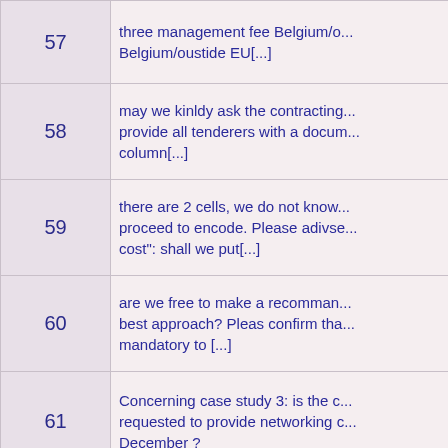| # | Question |
| --- | --- |
| 57 | three management fee Belgium/o... Belgium/oustide EU[...] |
| 58 | may we kinldy ask the contracting... provide all tenderers with a docum... column[...] |
| 59 | there are 2 cells, we do not know... proceed to encode. Please adivse... cost": shall we put[...] |
| 60 | are we free to make a recomman... best approach? Pleas confirm tha... mandatory to [...] |
| 61 | Concerning case study 3: is the c... requested to provide networking c... December ? |
| 62 | please confirm the value to be inc... the price is "Reimbursed accordin... mission guide[...] |
| 53 | Dear Sir, Madam, receive this nev... 17/06, 7 working days before the... submission is [...] |